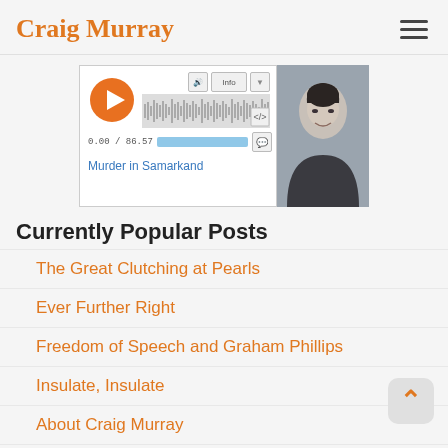Craig Murray
[Figure (screenshot): Audio player widget showing waveform, play button, time 0.00/86.57, with a photo of Craig Murray beside it. Caption reads 'Murder in Samarkand']
Currently Popular Posts
The Great Clutching at Pearls
Ever Further Right
Freedom of Speech and Graham Phillips
Insulate, Insulate
About Craig Murray
Assange on Scotland
The Forde Report and the Labour Right
News Page 2
Not Forgetting the al-Hillis continued
Not Forgetting the al-Hillis